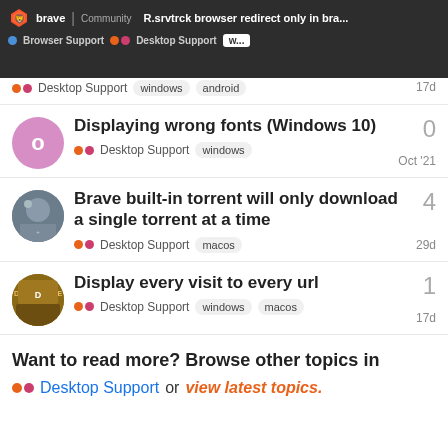R.srvtrck browser redirect only in bra... | Browser Support | Desktop Support | w...
Desktop Support | windows | android | 17d
Displaying wrong fonts (Windows 10) | Desktop Support | windows | Oct '21 | replies: 0
Brave built-in torrent will only download a single torrent at a time | Desktop Support | macos | 29d | replies: 4
Display every visit to every url | Desktop Support | windows | macos | 17d | replies: 1
Want to read more? Browse other topics in Desktop Support or view latest topics.